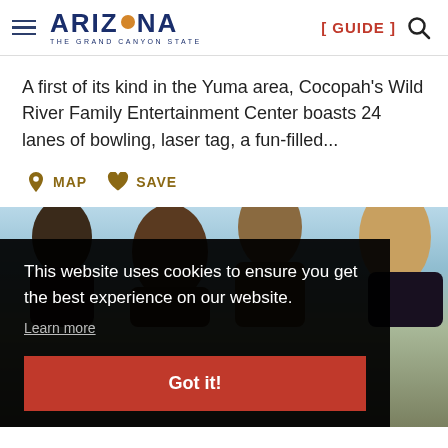ARIZONA THE GRAND CANYON STATE [ GUIDE ]
A first of its kind in the Yuma area, Cocopah's Wild River Family Entertainment Center boasts 24 lanes of bowling, laser tag, a fun-filled...
MAP  SAVE
[Figure (photo): Group of young people outdoors against a blue sky background, partially visible behind a cookie consent overlay banner]
This website uses cookies to ensure you get the best experience on our website.
Learn more
Got it!